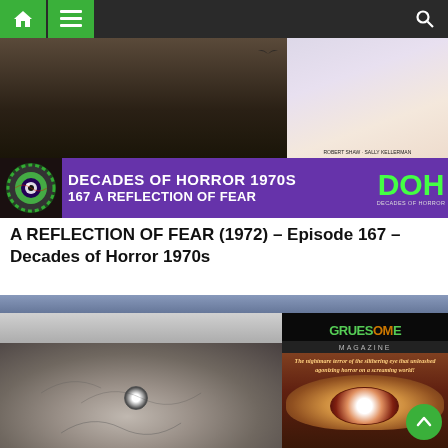Navigation bar with home, menu, and search icons
[Figure (screenshot): Screenshot of a website showing a horror podcast/blog. Top image shows a movie still and movie poster for 'A Reflection of Fear' with a purple banner reading 'DECADES OF HORROR 1970S 167 A REFLECTION OF FEAR' with the DOH logo.]
A REFLECTION OF FEAR (1972) – Episode 167 – Decades of Horror 1970s
[Figure (photo): Black and white horror film still showing a creature face with protruding eye, alongside Gruesome Magazine cover featuring an eye motif and text 'The nightmare terror of the slithering eye that unleashed agonizing horror on a screaming world!']